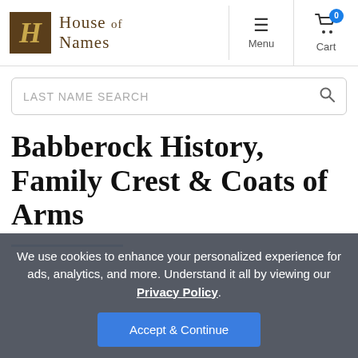[Figure (logo): House of Names logo — golden H monogram on brown square background with black letter/old English brand name text]
Babberock History, Family Crest & Coats of Arms
We use cookies to enhance your personalized experience for ads, analytics, and more. Understand it all by viewing our Privacy Policy.
Accept & Continue